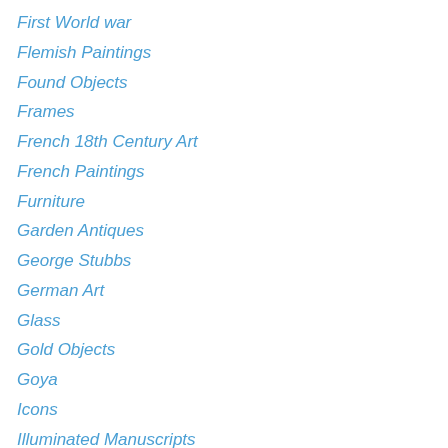First World war
Flemish Paintings
Found Objects
Frames
French 18th Century Art
French Paintings
Furniture
Garden Antiques
George Stubbs
German Art
Glass
Gold Objects
Goya
Icons
Illuminated Manuscripts
Illustrations
Impressionist Paintings
Installations
Interior Decoration